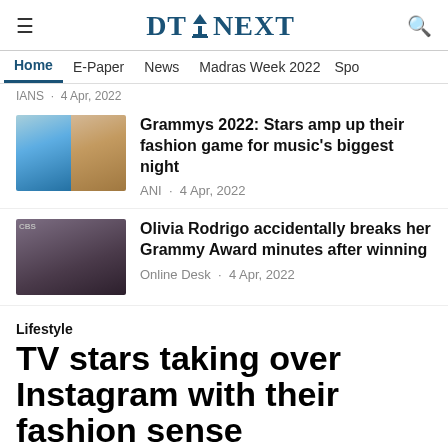DT NEXT
Home · E-Paper · News · Madras Week 2022 · Spo
IANS · 4 Apr, 2022
Grammys 2022: Stars amp up their fashion game for music's biggest night
ANI · 4 Apr, 2022
Olivia Rodrigo accidentally breaks her Grammy Award minutes after winning
Online Desk · 4 Apr, 2022
Lifestyle
TV stars taking over Instagram with their fashion sense
Aside from Bollywood celebrities who have